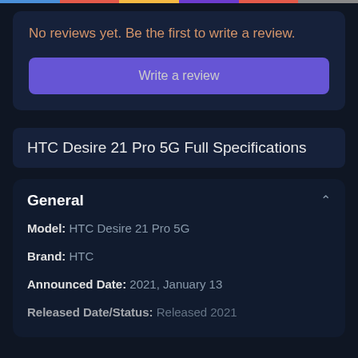No reviews yet. Be the first to write a review.
Write a review
HTC Desire 21 Pro 5G Full Specifications
General
Model: HTC Desire 21 Pro 5G
Brand: HTC
Announced Date: 2021, January 13
Released Date/Status: Released 2021